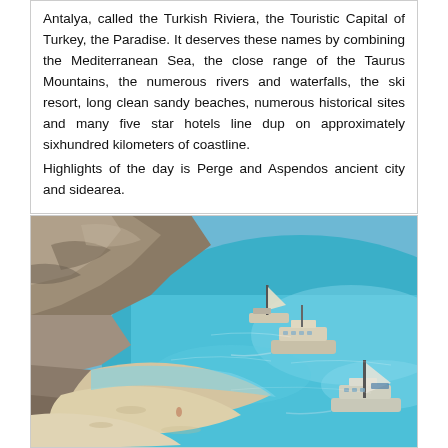Antalya, called the Turkish Riviera, the Touristic Capital of Turkey, the Paradise. It deserves these names by combining the Mediterranean Sea, the close range of the Taurus Mountains, the numerous rivers and waterfalls, the ski resort, long clean sandy beaches, numerous historical sites and many five star hotels line dup on approximately sixhundred kilometers of coastline. Highlights of the day is Perge and Aspendos ancient city and sidearea.
[Figure (photo): Aerial view of a turquoise Mediterranean cove with rocky cliffs on the left, a sandy beach, and several boats anchored in clear blue water.]